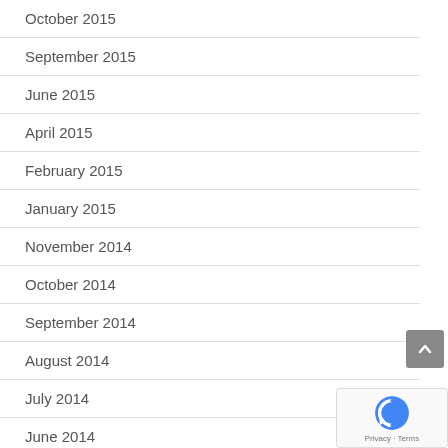October 2015
September 2015
June 2015
April 2015
February 2015
January 2015
November 2014
October 2014
September 2014
August 2014
July 2014
June 2014
May 2014